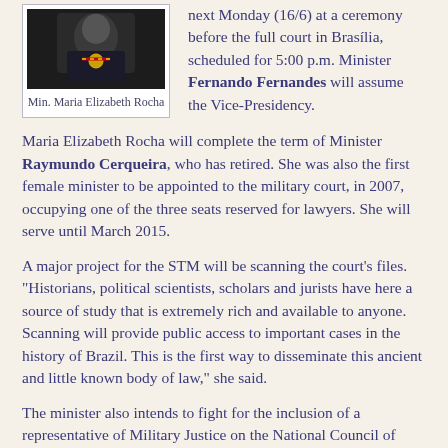[Figure (photo): Portrait photo of Min. Maria Elizabeth Rocha wearing formal attire with medals/decorations]
Min. Maria Elizabeth Rocha
next Monday (16/6) at a ceremony before the full court in Brasília, scheduled for 5:00 p.m. Minister Fernando Fernandes will assume the Vice-Presidency.
Maria Elizabeth Rocha will complete the term of Minister Raymundo Cerqueira, who has retired. She was also the first female minister to be appointed to the military court, in 2007, occupying one of the three seats reserved for lawyers. She will serve until March 2015.
A major project for the STM will be scanning the court's files. "Historians, political scientists, scholars and jurists have here a source of study that is extremely rich and available to anyone. Scanning will provide public access to important cases in the history of Brazil. This is the first way to disseminate this ancient and little known body of law," she said.
The minister also intends to fight for the inclusion of a representative of Military Justice on the National Council of Justice. "It was an inexcusable oversight when the 45th